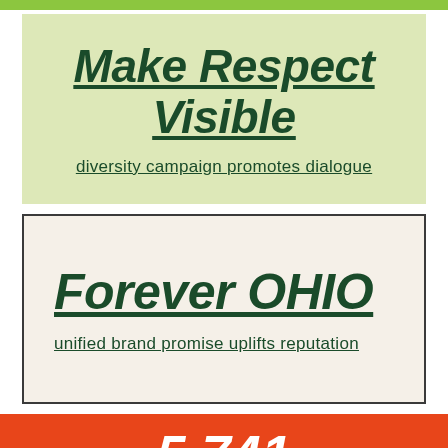Make Respect Visible
diversity campaign promotes dialogue
Forever OHIO
unified brand promise uplifts reputation
5,741